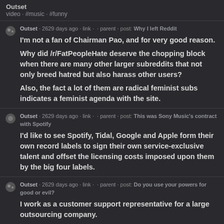Outset
video · #music · #funny
Outset · 2629 days ago · link · · parent · post: Why I left Reddit
I'm not a fan of Chairman Pao, and for very good reason.
Why did /r/FatPeopleHate deserve the chopping block when there are many other larger subreddits that not only breed hatred but also harass other users?
Also, the fact a lot of them are radical feminist subs indicates a feminist agenda with the site.
Outset · 2629 days ago · link · · parent · post: This was Sony Music's contract with Spotify
I'd like to see Spotify, Tidal, Google and Apple form their own record labels to sign their own service-exclusive talent and offset the licensing costs imposed upon them by the big four labels.
Outset · 2629 days ago · link · · parent · post: Do you use your powers for good or evil?
I work as a customer support representative for a large outsourcing company.
A few months ago, I would have said good, because I genuinely sympathise with the plight of customers. But months of being rudely mauled apart by customers has made me bitter